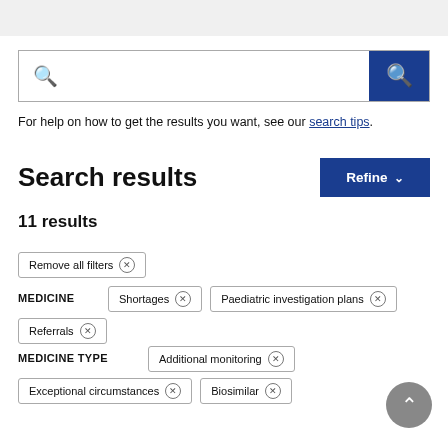[Figure (screenshot): Search bar with magnifying glass icon on left and blue search button on right]
For help on how to get the results you want, see our search tips.
Search results
11 results
Remove all filters ×
MEDICINE  Shortages ×  Paediatric investigation plans ×
Referrals ×
MEDICINE TYPE  Additional monitoring ×
Exceptional circumstances ×  Biosimilar ×